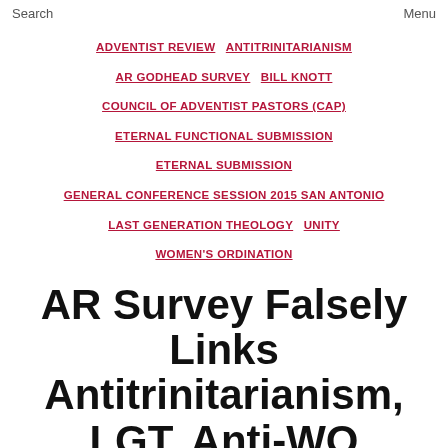Search   Menu
ADVENTIST REVIEW
ANTITRINITARIANISM
AR GODHEAD SURVEY
BILL KNOTT
COUNCIL OF ADVENTIST PASTORS (CAP)
ETERNAL FUNCTIONAL SUBMISSION
ETERNAL SUBMISSION
GENERAL CONFERENCE SESSION 2015 SAN ANTONIO
LAST GENERATION THEOLOGY
UNITY
WOMEN'S ORDINATION
AR Survey Falsely Links Antitrinitarianism, LGT, Anti-WO
By webmaster  May 14, 2018  2 Comments